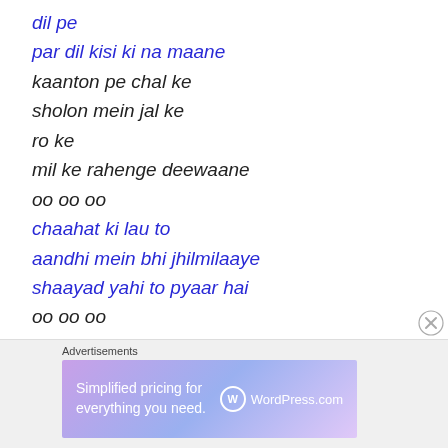dil pe
par dil kisi ki na maane
kaanton pe chal ke
sholon mein jal ke
ro ke
mil ke rahenge deewaane
oo oo oo
chaahat ki lau to
aandhi mein bhi jhilmilaaye
shaayad yahi to pyaar hai
oo oo oo
ik ajnabi sa
ehsaas dil ko sataaye
[Figure (screenshot): WordPress.com advertisement banner with text 'Simplified pricing for everything you need.' and WordPress.com logo on a purple-blue gradient background.]